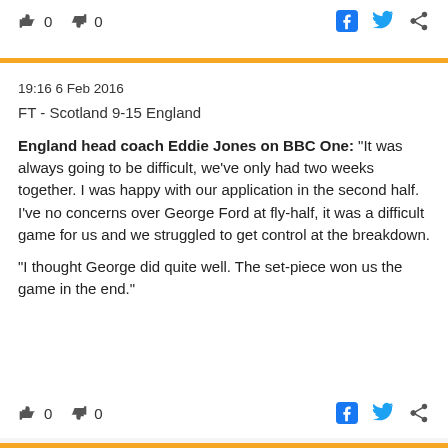👍 0  👎 0
19:16 6 Feb 2016
FT - Scotland 9-15 England
England head coach Eddie Jones on BBC One: "It was always going to be difficult, we've only had two weeks together. I was happy with our application in the second half. I've no concerns over George Ford at fly-half, it was a difficult game for us and we struggled to get control at the breakdown.

"I thought George did quite well. The set-piece won us the game in the end."
👍 0  👎 0